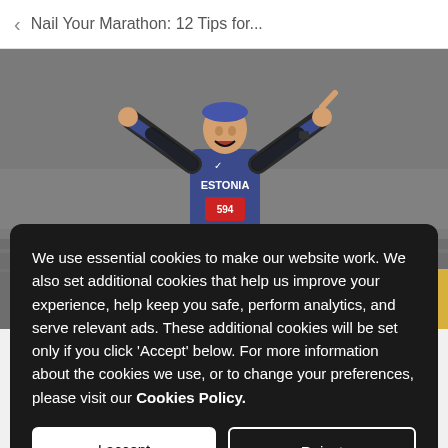Nail Your Marathon: 12 Tips for...
[Figure (photo): Marathon runner wearing Estonia bib number 594, arms raised in celebration, wearing dark arm sleeves and blue singlet.]
We use essential cookies to make our website work. We also set additional cookies that help us improve your experience, help keep you safe, perform analytics, and serve relevant ads. These additional cookies will be set only if you click 'Accept' below. For more information about the cookies we use, or to change your preferences, please visit our Cookies Policy.